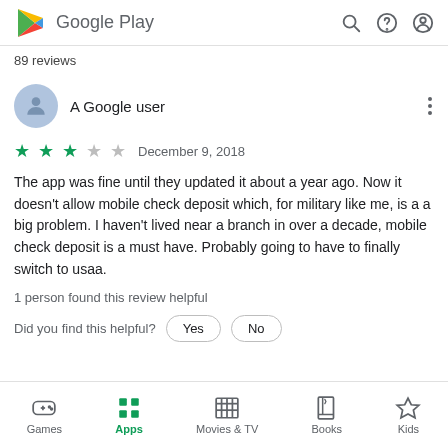Google Play
89 reviews
A Google user
December 9, 2018
The app was fine until they updated it about a year ago. Now it doesn't allow mobile check deposit which, for military like me, is a a big problem. I haven't lived near a branch in over a decade, mobile check deposit is a must have. Probably going to have to finally switch to usaa.
1 person found this review helpful
Did you find this helpful?
Games  Apps  Movies & TV  Books  Kids